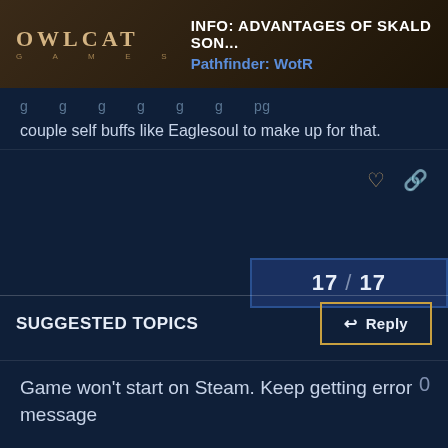INFO: ADVANTAGES OF SKALD SON... | Pathfinder: WotR
couple self buffs like Eaglesoul to make up for that.
17 / 17
SUGGESTED TOPICS
Reply
Game won't start on Steam. Keep getting error message
0
Pathfinder: WotR
Sep '21